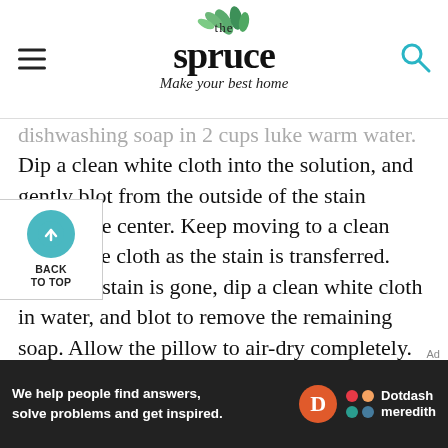the spruce — Make your best home
dishwashing soap in 2 cups luke warm water. Dip a clean white cloth into the solution, and gently blot from the outside of the stain toward the center. Keep moving to a clean area of the cloth as the stain is transferred. Once the stain is gone, dip a clean white cloth in water, and blot to remove the remaining soap. Allow the pillow to air-dry completely. If you must speed drying process, use a blow-dryer set on to dry the cleaned area or place it in a r on low heat.
[Figure (other): Back to top button with teal circle arrow icon]
[Figure (other): Dotdash Meredith advertisement banner: We help people find answers, solve problems and get inspired.]